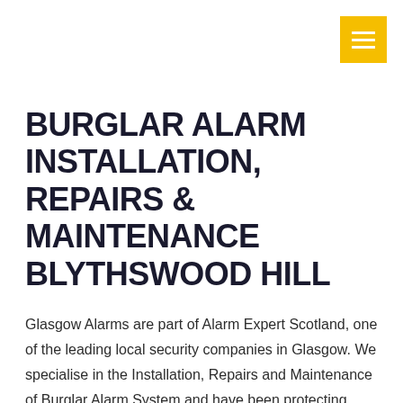BURGLAR ALARM INSTALLATION, REPAIRS & MAINTENANCE BLYTHSWOOD HILL
Glasgow Alarms are part of Alarm Expert Scotland, one of the leading local security companies in Glasgow. We specialise in the Installation, Repairs and Maintenance of Burglar Alarm System and have been protecting properties throughout Scotland for 30 years.